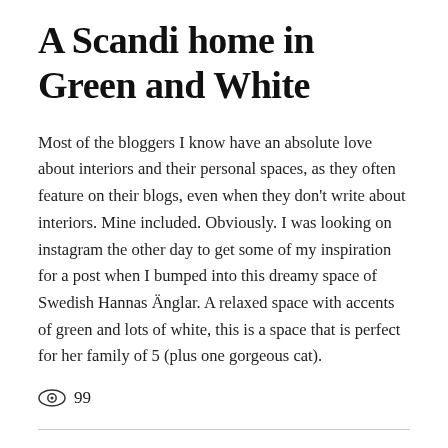A Scandi home in Green and White
Most of the bloggers I know have an absolute love about interiors and their personal spaces, as they often feature on their blogs, even when they don't write about interiors. Mine included. Obviously. I was looking on instagram the other day to get some of my inspiration for a post when I bumped into this dreamy space of Swedish Hannas Änglar. A relaxed space with accents of green and lots of white, this is a space that is perfect for her family of 5 (plus one gorgeous cat).